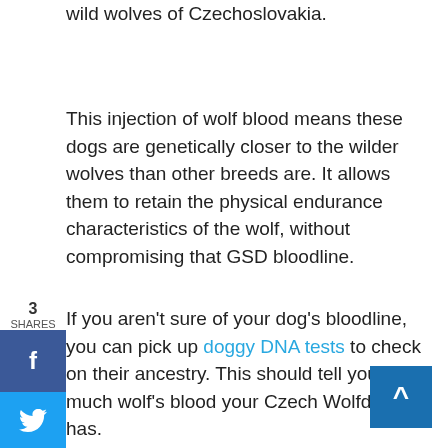wild wolves of Czechoslovakia.
This injection of wolf blood means these dogs are genetically closer to the wilder wolves than other breeds are. It allows them to retain the physical endurance characteristics of the wolf, without compromising that GSD bloodline.
If you aren't sure of your dog's bloodline, you can pick up doggy DNA tests to check on their ancestry. This should tell you how much wolf's blood your Czech Wolfdog has.